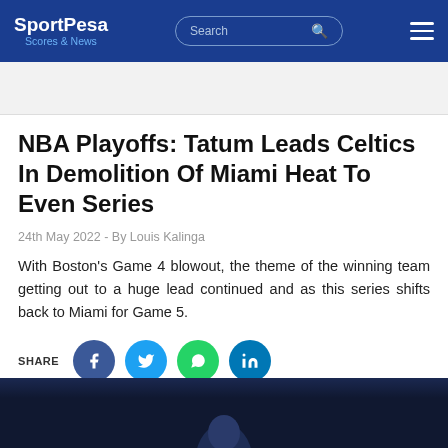SportPesa Scores & News
NBA Playoffs: Tatum Leads Celtics In Demolition Of Miami Heat To Even Series
24th May 2022 - By Louis Kalinga
With Boston's Game 4 blowout, the theme of the winning team getting out to a huge lead continued and as this series shifts back to Miami for Game 5.
[Figure (infographic): Social share buttons: Facebook, Twitter, WhatsApp, LinkedIn]
[Figure (photo): Dark background photo with player figure visible at bottom of page]